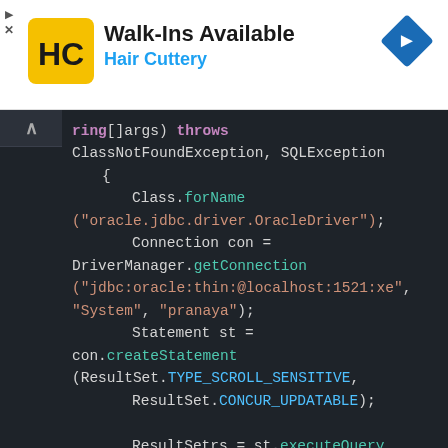[Figure (screenshot): Advertisement banner for Hair Cuttery: Walk-Ins Available, with yellow HC logo and blue navigation arrow icon]
Walk-Ins Available
Hair Cuttery
[Figure (screenshot): Code editor screenshot showing Java JDBC code: ClassNotFoundException, SQLException, Class.forName("oracle.jdbc.driver.OracleDriver"), Connection con = DriverManager.getConnection("jdbc:oracle:thin:@localhost:1521:xe", "System", "pranaya"), Statement st = con.createStatement(ResultSet.TYPE_SCROLL_SENSITIVE, ResultSet.CONCUR_UPDATABLE), ResultSetrs = st.executeQuery("SELECT accno, name, balance, address FROM ACCOUNT")]